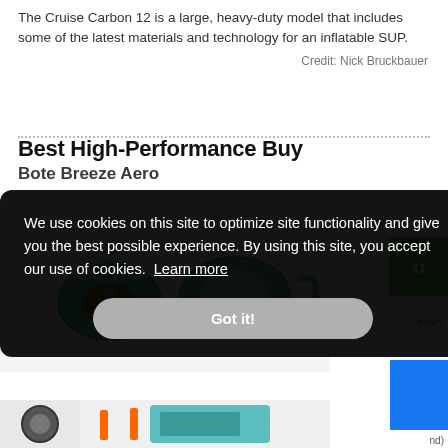The Cruise Carbon 12 is a large, heavy-duty model that includes some of the latest materials and technology for an inflatable SUP.
Credit: Nick Bruckbauer
Best High-Performance Buy
Bote Breeze Aero
[Figure (photo): Photo of Bote Breeze Aero inflatable SUP paddle boards, teal colored, shown from multiple angles]
We use cookies on this site to optimize site functionality and give you the best possible experience. By using this site, you accept our use of cookies.  Learn more
Got it!
ountry
nd)